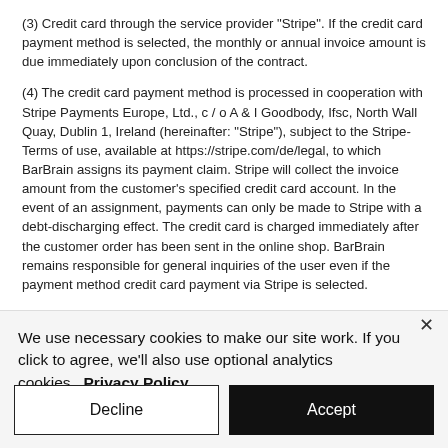(3) Credit card through the service provider "Stripe". If the credit card payment method is selected, the monthly or annual invoice amount is due immediately upon conclusion of the contract.
(4) The credit card payment method is processed in cooperation with Stripe Payments Europe, Ltd., c / o A & I Goodbody, Ifsc, North Wall Quay, Dublin 1, Ireland (hereinafter: "Stripe"), subject to the Stripe-Terms of use, available at https://stripe.com/de/legal, to which BarBrain assigns its payment claim. Stripe will collect the invoice amount from the customer's specified credit card account. In the event of an assignment, payments can only be made to Stripe with a debt-discharging effect. The credit card is charged immediately after the customer order has been sent in the online shop. BarBrain remains responsible for general inquiries of the user even if the payment method credit card payment via Stripe is selected.
We use necessary cookies to make our site work. If you click to agree, we'll also use optional analytics cookies. Privacy Policy